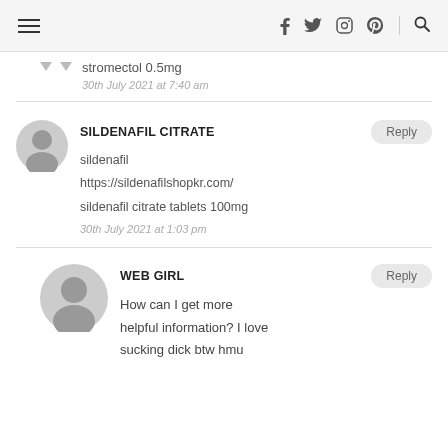Navigation header with hamburger menu, social icons (facebook, twitter, instagram, pinterest), and search icon
stromectol 0.5mg
30th July 2021 at 7:40 am
SILDENAFIL CITRATE
Reply
sildenafil
https://sildenafilshopkr.com/
sildenafil citrate tablets 100mg
30th July 2021 at 1:03 pm
WEB GIRL
Reply
How can I get more helpful information? I love sucking dick btw hmu